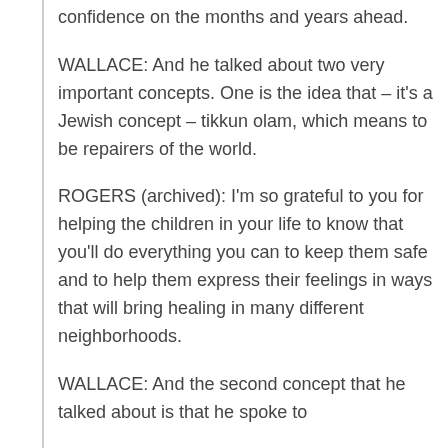confidence on the months and years ahead.
WALLACE: And he talked about two very important concepts. One is the idea that – it's a Jewish concept – tikkun olam, which means to be repairers of the world.
ROGERS (archived): I'm so grateful to you for helping the children in your life to know that you'll do everything you can to keep them safe and to help them express their feelings in ways that will bring healing in many different neighborhoods.
WALLACE: And the second concept that he talked about is that he spoke to